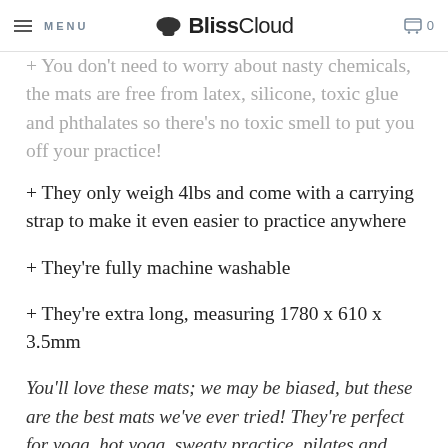MENU | BlissCloud | 0
+ You don't need to worry about nasty chemicals, the mats are free from latex, silicone, toxic glue and phthalates so there's no toxic smell to put you off your practice!
+ They only weigh 4lbs and come with a carrying strap to make it even easier to practice anywhere
+ They're fully machine washable
+ They're extra long, measuring 1780 x 610 x 3.5mm
You'll love these mats; we may be biased, but these are the best mats we've ever tried! They're perfect for yoga, hot yoga, sweaty practice, pilates and general workouts, and we think you'll love the extra